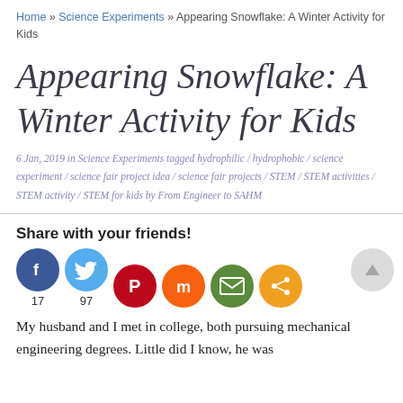Home » Science Experiments » Appearing Snowflake: A Winter Activity for Kids
Appearing Snowflake: A Winter Activity for Kids
6 Jan, 2019 in Science Experiments tagged hydrophilic / hydrophobic / science experiment / science fair project idea / science fair projects / STEM / STEM activities / STEM activity / STEM for kids by From Engineer to SAHM
Share with your friends!
[Figure (infographic): Social sharing buttons: Facebook (17), Twitter (97), Pinterest, Mix, Email, Share]
My husband and I met in college, both pursuing mechanical engineering degrees. Little did I know, he was